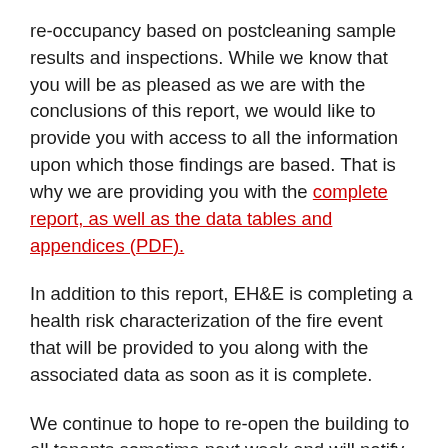re-occupancy based on postcleaning sample results and inspections. While we know that you will be as pleased as we are with the conclusions of this report, we would like to provide you with access to all the information upon which those findings are based. That is why we are providing you with the complete report, as well as the data tables and appendices (PDF).
In addition to this report, EH&E is completing a health risk characterization of the fire event that will be provided to you along with the associated data as soon as it is complete.
We continue to hope to re-open the building to all tenants sometime next week and will notify you